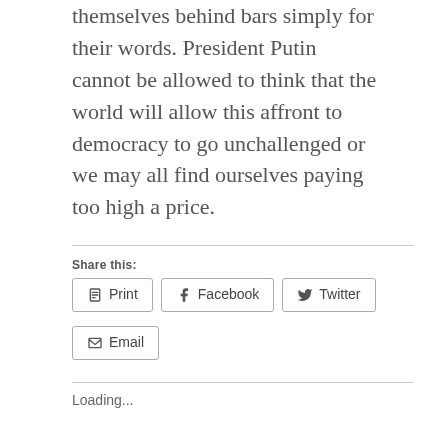themselves behind bars simply for their words. President Putin cannot be allowed to think that the world will allow this affront to democracy to go unchallenged or we may all find ourselves paying too high a price.
Share this:
Print
Facebook
Twitter
Email
Loading...